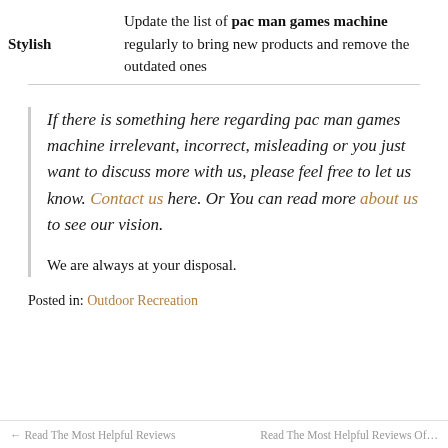| Stylish | Update the list of pac man games machine regularly to bring new products and remove the outdated ones |
If there is something here regarding pac man games machine irrelevant, incorrect, misleading or you just want to discuss more with us, please feel free to let us know. Contact us here. Or You can read more about us to see our vision.

We are always at your disposal.
Posted in: Outdoor Recreation
← Read The Most Helpful Reviews    Read The Most Helpful Reviews Of…